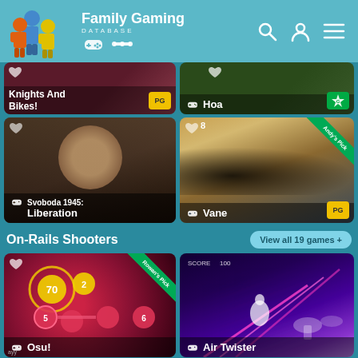Family Gaming DATABASE
[Figure (screenshot): Knights And Bikes! game card with PG rating badge]
[Figure (screenshot): Hoa game card with G rating badge]
[Figure (screenshot): Svoboda 1945: Liberation game card]
[Figure (screenshot): Vane game card with Andy's Pick ribbon and PG rating badge]
On-Rails Shooters
View all 19 games +
[Figure (screenshot): Osu! game card with Rowan's Pick ribbon]
[Figure (screenshot): Air Twister game card]
[Figure (screenshot): Partially visible game card bottom left]
[Figure (screenshot): Partially visible Gold Rush game card bottom right]